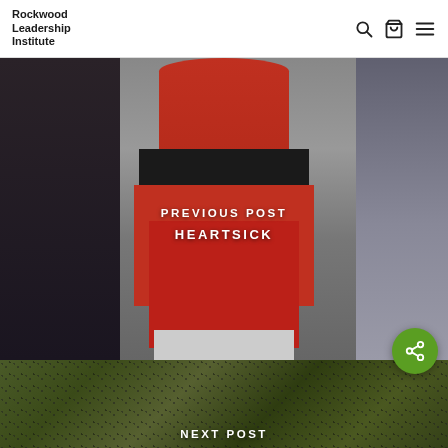Rockwood Leadership Institute
[Figure (photo): Child wearing a red hoodie sitting on steps and holding a red sign that reads 'JUSTICE FOR TRAYVON MARTIN' with text overlaid reading 'PREVIOUS POST' and 'HEARTSICK']
[Figure (photo): Dark green-tinted crowd photo with text overlay reading 'NEXT POST']